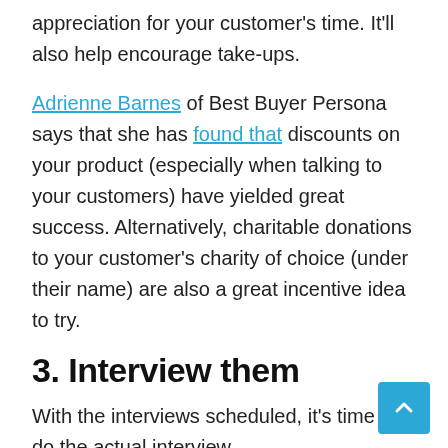appreciation for your customer's time. It'll also help encourage take-ups.
Adrienne Barnes of Best Buyer Persona says that she has found that discounts on your product (especially when talking to your customers) have yielded great success. Alternatively, charitable donations to your customer's charity of choice (under their name) are also a great incentive idea to try.
3. Interview them
With the interviews scheduled, it's time to do the actual interview.
Before the interview begins, ask if you can record it. This is important because we're not